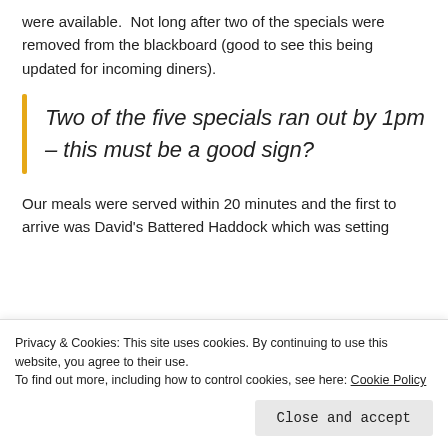were available.  Not long after two of the specials were removed from the blackboard (good to see this being updated for incoming diners).
Two of the five specials ran out by 1pm – this must be a good sign?
Our meals were served within 20 minutes and the first to arrive was David's Battered Haddock which was setting
Privacy & Cookies: This site uses cookies. By continuing to use this website, you agree to their use.
To find out more, including how to control cookies, see here: Cookie Policy